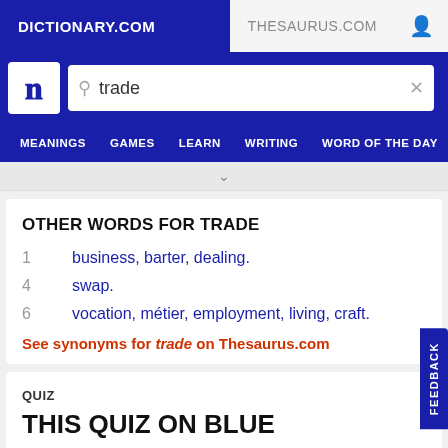DICTIONARY.COM | THESAURUS.COM
OTHER WORDS FOR TRADE
1   business, barter, dealing.
4   swap.
6   vocation, métier, employment, living, craft.
See synonyms for trade on Thesaurus.com
QUIZ
THIS QUIZ ON BLUE